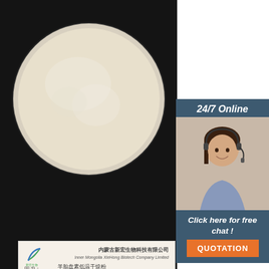[Figure (photo): Product photo: a white/cream powder in a petri dish on black background, with a product label card showing Inner Mongolia XieHong Biotech Company Limited branding. Also includes a 24/7 online customer service sidebar widget with a female agent photo, 'Click here for free chat!' text, and an orange QUOTATION button.]
Structure of an Amide Bond Forming F420:γγ-glutamyl
2007-9-14u2002·u2002F 420 is a flavin-like redox-active coenzyme commonly used by archaea and some eubacteria in a variety of biochemical reactions in methanogenesis, the